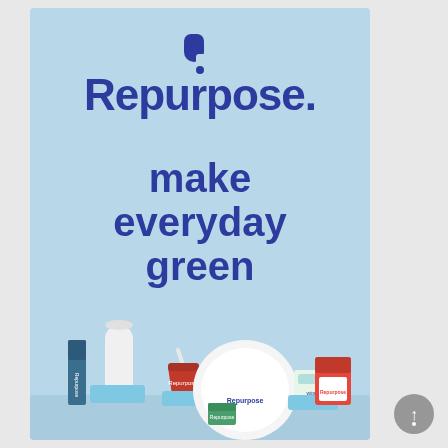[Figure (logo): Repurpose brand logo mark - stylized letter R or leaf shape in dark blue]
Repurpose.
make everyday green
[Figure (photo): Collection of Repurpose eco-friendly products displayed at the bottom: paper towel roll, straw, red cup, paper plate, tissue box, wet wipes, and other product boxes arranged on light blue background]